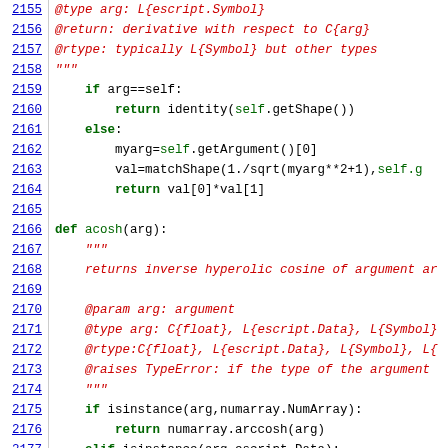Code listing lines 2155-2177 showing Python source code with acosh function definition and derivative method
[Figure (screenshot): Python source code listing showing lines 2155-2177 with syntax highlighting. Lines 2155-2164 show derivative method code, lines 2166-2177 show def acosh(arg) function with docstring and implementation.]